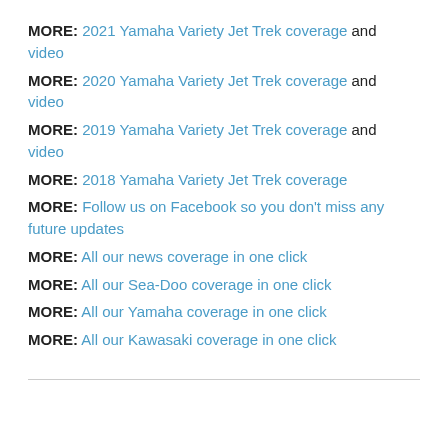MORE: 2021 Yamaha Variety Jet Trek coverage and video
MORE: 2020 Yamaha Variety Jet Trek coverage and video
MORE: 2019 Yamaha Variety Jet Trek coverage and video
MORE: 2018 Yamaha Variety Jet Trek coverage
MORE: Follow us on Facebook so you don't miss any future updates
MORE: All our news coverage in one click
MORE: All our Sea-Doo coverage in one click
MORE: All our Yamaha coverage in one click
MORE: All our Kawasaki coverage in one click